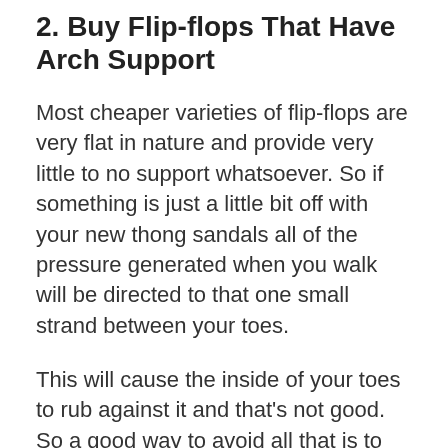2. Buy Flip-flops That Have Arch Support
Most cheaper varieties of flip-flops are very flat in nature and provide very little to no support whatsoever. So if something is just a little bit off with your new thong sandals all of the pressure generated when you walk will be directed to that one small strand between your toes.
This will cause the inside of your toes to rub against it and that's not good. So a good way to avoid all that is to buy flip-flops with